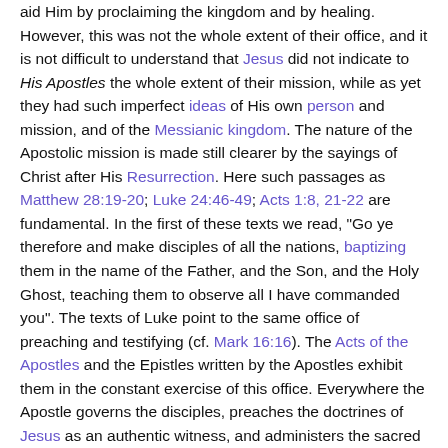aid Him by proclaiming the kingdom and by healing. However, this was not the whole extent of their office, and it is not difficult to understand that Jesus did not indicate to His Apostles the whole extent of their mission, while as yet they had such imperfect ideas of His own person and mission, and of the Messianic kingdom. The nature of the Apostolic mission is made still clearer by the sayings of Christ after His Resurrection. Here such passages as Matthew 28:19-20; Luke 24:46-49; Acts 1:8, 21-22 are fundamental. In the first of these texts we read, "Go ye therefore and make disciples of all the nations, baptizing them in the name of the Father, and the Son, and the Holy Ghost, teaching them to observe all I have commanded you". The texts of Luke point to the same office of preaching and testifying (cf. Mark 16:16). The Acts of the Apostles and the Epistles written by the Apostles exhibit them in the constant exercise of this office. Everywhere the Apostle governs the disciples, preaches the doctrines of Jesus as an authentic witness, and administers the sacred rites. In order to fill such an office, it seems necessary to have been instructed by Jesus personally, or, as the instance of Paul shows, And the same place by the